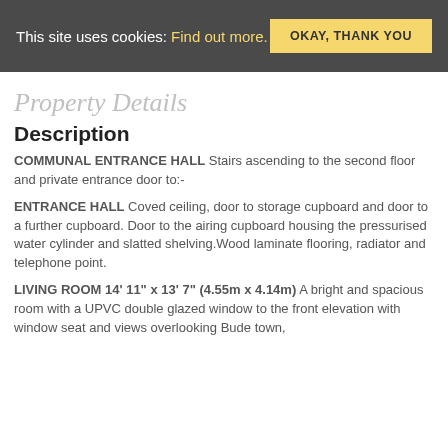This site uses cookies: Find out more.   OKAY, THANK YOU
Property Details
Description
COMMUNAL ENTRANCE HALL Stairs ascending to the second floor and private entrance door to:-
ENTRANCE HALL Coved ceiling, door to storage cupboard and door to a further cupboard. Door to the airing cupboard housing the pressurised water cylinder and slatted shelving.Wood laminate flooring, radiator and telephone point.
LIVING ROOM 14' 11" x 13' 7" (4.55m x 4.14m) A bright and spacious room with a UPVC double glazed window to the front elevation with window seat and views overlooking Bude town,